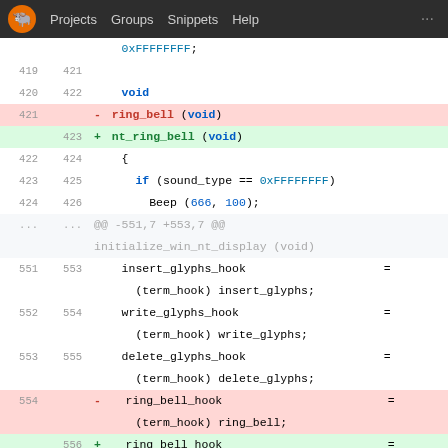GNU Projects Groups Snippets Help
[Figure (screenshot): Git diff view showing code changes renaming ring_bell to nt_ring_bell in a C source file, with line numbers, added/removed line highlighting, and syntax coloring.]